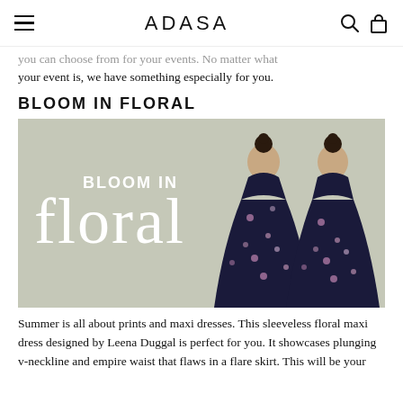ADASA
you can choose from for your events. No matter what your event is, we have something especially for you.
BLOOM IN FLORAL
[Figure (photo): Promotional banner with text 'BLOOM IN Floral' overlaid on a sage green background, featuring two models in sleeveless floral maxi dresses, one facing front and one facing back.]
Summer is all about prints and maxi dresses. This sleeveless floral maxi dress designed by Leena Duggal is perfect for you. It showcases plunging v-neckline and empire waist that flaws in a flare skirt. This will be your